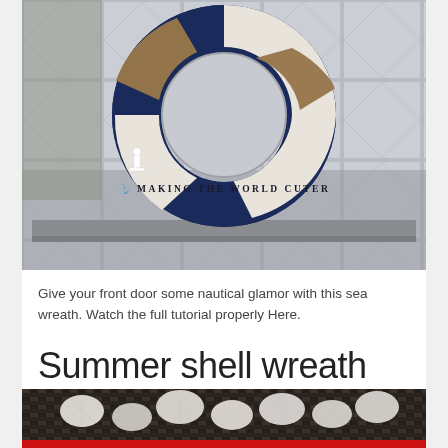[Figure (photo): A nautical-themed wreath made with navy blue and white stripes and jute rope sections, hanging on a frosted glass window with tile border. Watermark reads: anchor symbol MAKING THE WORLD CUTER]
Give your front door some nautical glamor with this sea wreath. Watch the full tutorial properly Here.
Summer shell wreath
[Figure (photo): Bottom portion of a shell wreath photo, partially visible, showing white shells arranged on a dark woven background.]